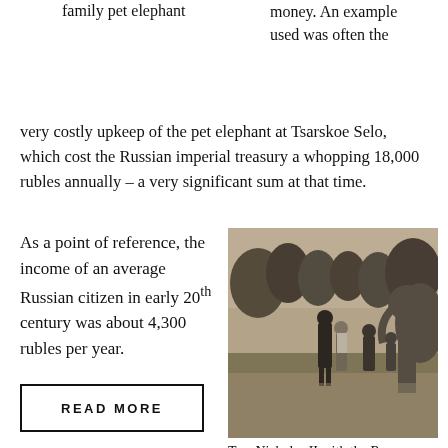family pet elephant
money. An example used was often the very costly upkeep of the pet elephant at Tsarskoe Selo, which cost the Russian imperial treasury a whopping 18,000 rubles annually – a very significant sum at that time.
As a point of reference, the income of an average Russian citizen in early 20th century was about 4,300 rubles per year.
[Figure (photo): Black and white photograph of Tsar Nicholas II with the Romanov family pet elephant outdoors, with trees in the background. Several people are visible near a large elephant.]
Tsar Nicholas II with the Romanov family pet elephant
READ MORE